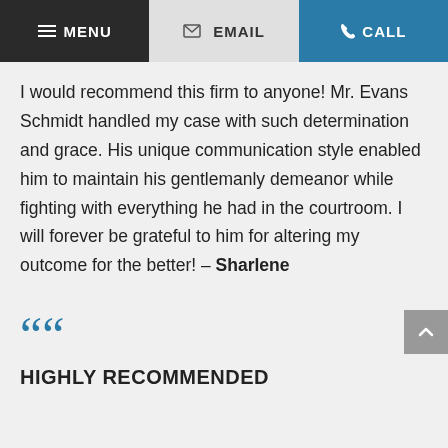MENU | EMAIL | CALL
I would recommend this firm to anyone! Mr. Evans Schmidt handled my case with such determination and grace. His unique communication style enabled him to maintain his gentlemanly demeanor while fighting with everything he had in the courtroom. I will forever be grateful to him for altering my outcome for the better! – Sharlene
““
HIGHLY RECOMMENDED